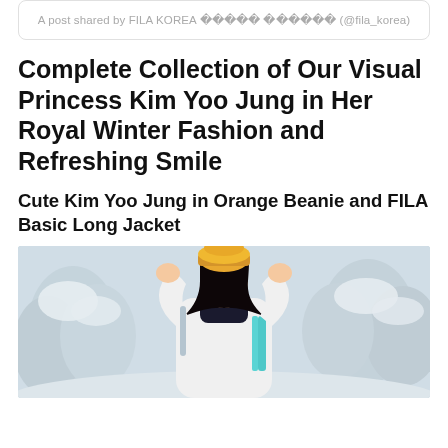A post shared by FILA KOREA 피라 코리아 (@fila_korea)
Complete Collection of Our Visual Princess Kim Yoo Jung in Her Royal Winter Fashion and Refreshing Smile
Cute Kim Yoo Jung in Orange Beanie and FILA Basic Long Jacket
[Figure (photo): Kim Yoo Jung wearing an orange beanie and white FILA long jacket, smiling with hands raised behind her head, against a snowy winter background with trees.]